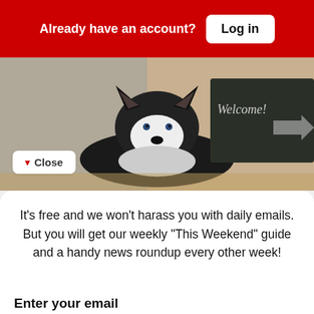Already have an account? Log in
[Figure (photo): Photo of a Husky dog lying on a wood floor near a chalkboard welcome sign]
Close
It's free and we won't harass you with daily emails. But you will get our weekly "This Weekend" guide and a handy news roundup every other week!
Enter your email
name@domain.com
OR SIGN UP WITH